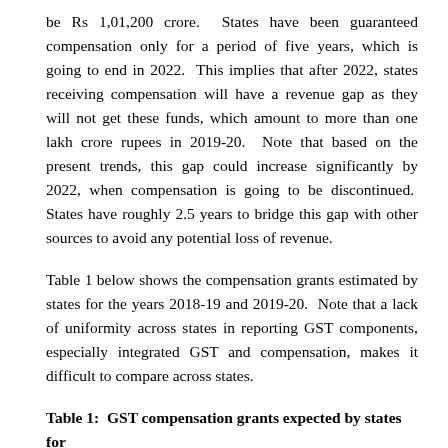be Rs 1,01,200 crore.  States have been guaranteed compensation only for a period of five years, which is going to end in 2022.  This implies that after 2022, states receiving compensation will have a revenue gap as they will not get these funds, which amount to more than one lakh crore rupees in 2019-20.  Note that based on the present trends, this gap could increase significantly by 2022, when compensation is going to be discontinued.  States have roughly 2.5 years to bridge this gap with other sources to avoid any potential loss of revenue.
Table 1 below shows the compensation grants estimated by states for the years 2018-19 and 2019-20.  Note that a lack of uniformity across states in reporting GST components, especially integrated GST and compensation, makes it difficult to compare across states.
Table 1:  GST compensation grants expected by states for